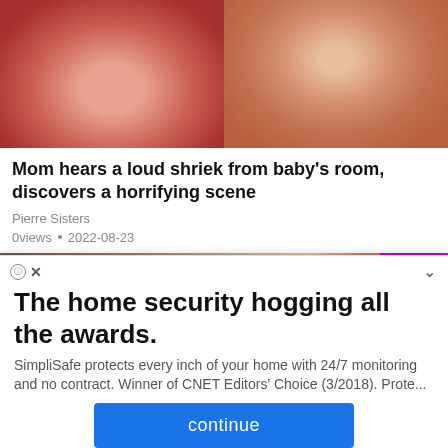[Figure (photo): Two-panel image: left panel shows a close-up of a newborn baby's face with reddish skin; right panel shows a woman with sunglasses crying with liquid on her face]
Mom hears a loud shriek from baby's room, discovers a horrifying scene
Pierre Sisters
0views • 2022-08-23
[Figure (photo): Three-panel image showing people's faces; right panel shows a woman in front of a purple KELLY logo/sign]
The home security hogging all the awards.
SimpliSafe protects every inch of your home with 24/7 monitoring and no contract. Winner of CNET Editors' Choice (3/2018). Prote...
continue